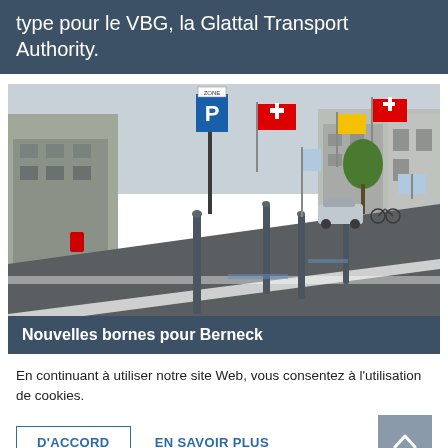type pour le VBG, la Glattal Transport Authority.
[Figure (photo): Street scene in Berneck showing bollards, parking sign, Swiss flags, and road markings]
Nouvelles bornes pour Berneck
En continuant à utiliser notre site Web, vous consentez à l'utilisation de cookies.
D'ACCORD   EN SAVOIR PLUS